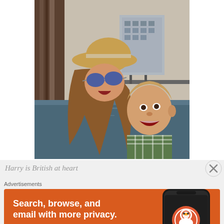[Figure (photo): Two people taking a selfie outdoors near a river or waterway. One person wears a straw hat and blue sunglasses with long hair; the other is a younger person in a plaid shirt with mouth open. Buildings and trees visible in background.]
Harry is British at heart
Advertisements
[Figure (screenshot): DuckDuckGo advertisement banner with orange background. Text reads 'Search, browse, and email with more privacy. All in One Free App' with DuckDuckGo logo and a smartphone image on the right side.]